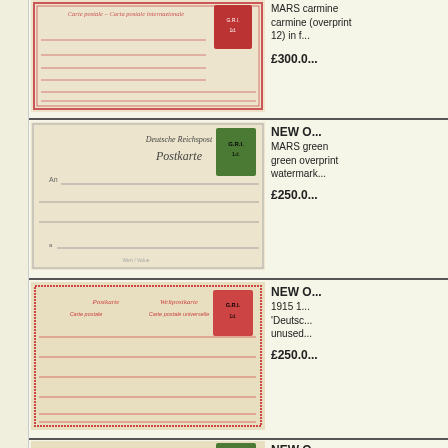[Figure (photo): Postcard image - Carte postale / Carta postale internazionale with red carmine stamp overprint, pinkish-cream card with red border lines]
MARS carmine (overprint described, no. 12) in f...
£300.0...
[Figure (photo): Deutsche Reichspost Postkarte postcard with green stamp overprinted G.R.I.]
NEW O... MARS green overprint (overprint described) watermark...
£250.0...
[Figure (photo): Postkarte / Weltpostkarte with red border and G.R.I. overprint stamp, cream card]
NEW O... 1915 1... 'Deutsc... unused...
£250.0...
[Figure (photo): Postkarte with green G.R.I. overprint stamp, bottom of page partially visible]
NEW O... watermark...